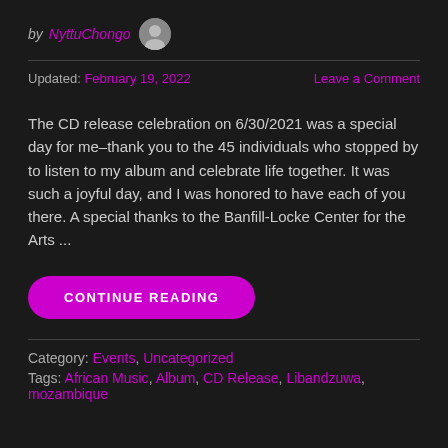by NyttuChongo
Updated: February 19, 2022   Leave a Comment
The CD release celebration on 6/30/2021 was a special day for me–thank you to the 45 individuals who stopped by to listen to my album and celebrate life together.  It was such a joyful day, and I was honored to have each of you there.  A special thanks to the Banfill-Locke Center for the Arts ...
CONTINUE READING
Category: Events, Uncategorized
Tags: African Music, Album, CD Release, Libandzuwa, mozambique